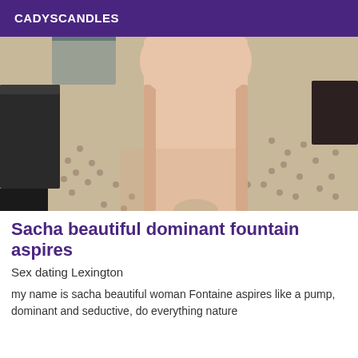CADYSCANDLES
[Figure (photo): Photo of a person's lower body from behind, standing on a patterned carpet in what appears to be a hotel room, with a dark wooden table visible on the left.]
Sacha beautiful dominant fountain aspires
Sex dating Lexington
my name is sacha beautiful woman Fontaine aspires like a pump, dominant and seductive, do everything nature